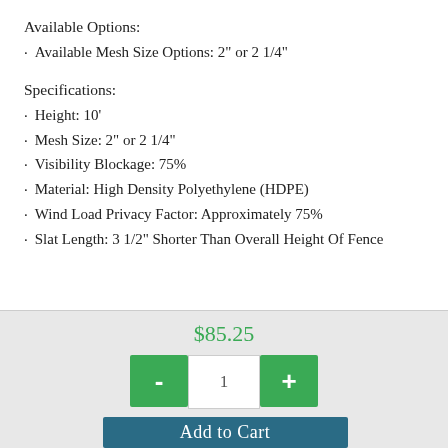Available Options:
Available Mesh Size Options: 2" or 2 1/4"
Specifications:
Height: 10'
Mesh Size: 2" or 2 1/4"
Visibility Blockage: 75%
Material: High Density Polyethylene (HDPE)
Wind Load Privacy Factor: Approximately 75%
Slat Length: 3 1/2" Shorter Than Overall Height Of Fence
$85.25
- 1 +
Add to Cart